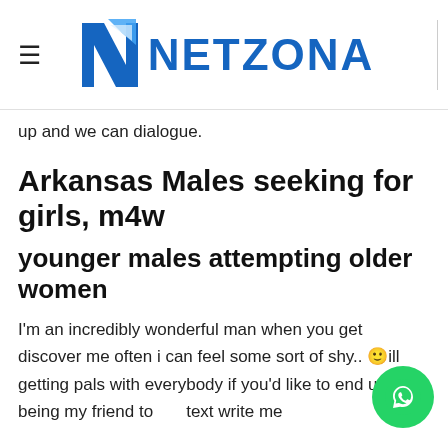NETZONA
up and we can dialogue.
Arkansas Males seeking for girls, m4w
younger males attempting older women
I'm an incredibly wonderful man when you get discover me often i can feel some sort of shy.. 🙂ill getting pals with everybody if you'd like to end up being my friend to text write me